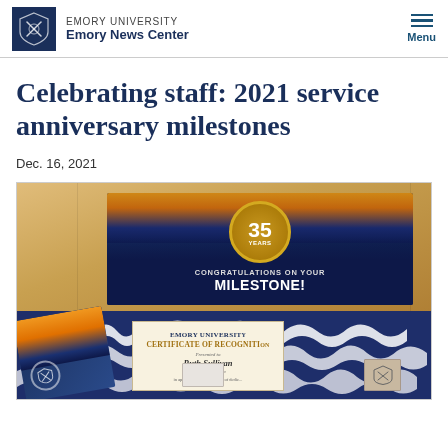EMORY UNIVERSITY
Emory News Center
Celebrating staff: 2021 service anniversary milestones
Dec. 16, 2021
[Figure (photo): An open cardboard gift box containing a certificate of recognition from Emory University presented to Ruth Sullivan, a Emory Museum staff member, along with a pamphlet and shredded white paper packing material. The inside of the box lid shows a dark blue card with a golden '35 YEARS' badge and text reading 'CONGRATULATIONS ON YOUR MILESTONE!']